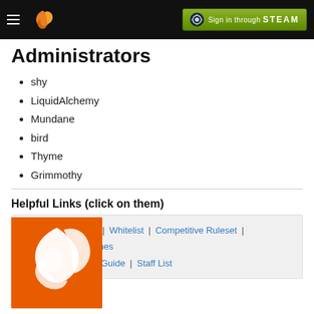Navigation header with logo and Steam sign-in button
Administrators
shy
LiquidAlchemy
Mundane
bird
Thyme
Grimmothy
Helpful Links (click on them)
Maps | Key Dates | Whitelist | Competitive Ruleset | Community Guidelines | Transfers | Server Guide | Staff List
[Figure (logo): Orange background logo with white phoenix/bird illustration]